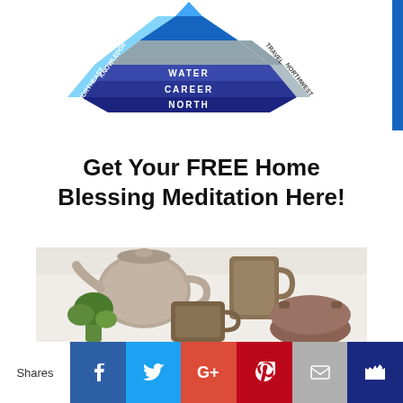[Figure (schematic): Feng shui bagua/pyramid diagram showing directional labels: KNOWLEDGE, NORTHEAST, WATER, CAREER, NORTH, with colored hexagonal layers in blue and gray tones]
Get Your FREE Home Blessing Meditation Here!
[Figure (photo): Overhead view of ceramic teapot, mugs, and a small plant on a white surface]
Shares | Facebook | Twitter | Google+ | Pinterest | Email | Crown